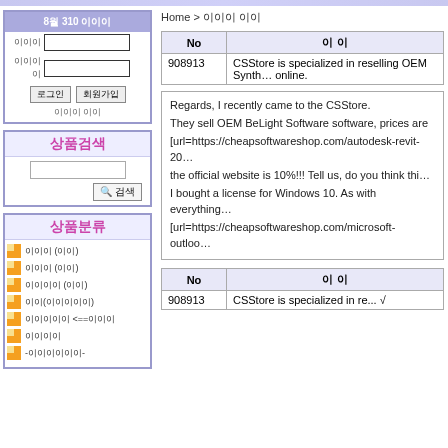8월 310 이이이
이이이 [text field] 이이이이 [text field]
로그인 | 회원가입
이이이 이이
상품검색
[search input] 🔍 검색
상품분류
이이이 (이이)
이이이 (이이)
이이이이 (이이)
이이(이이이이이)
이이이이이 <==>이이이
이이이이
-이이이이이이-
Home > 이이이 이이
| No | 이 이 |
| --- | --- |
| 908913 | CSStore is specialized in reselling OEM Synth… online. |
Regards, I recently came to the CSStore.
They sell OEM BeLight Software software, prices are
[url=https://cheapsoftwareshop.com/autodesk-revit-20…
the official website is 10%!!! Tell us, do you think thi…
I bought a license for Windows 10. As with everything…
[url=https://cheapsoftwareshop.com/microsoft-outloo…
| No | 이 이 |
| --- | --- |
| 908913 | CSStore is specialized in re... √ |